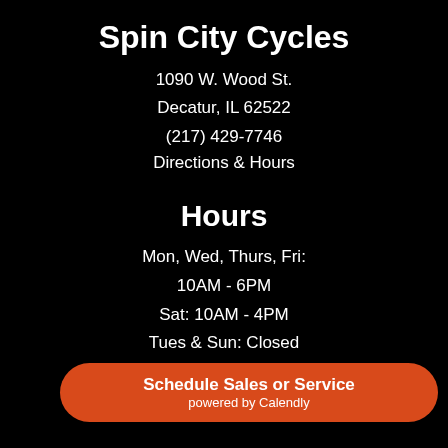Spin City Cycles
1090 W. Wood St.
Decatur, IL 62522
(217) 429-7746
Directions & Hours
Hours
Mon, Wed, Thurs, Fri:
10AM - 6PM
Sat: 10AM - 4PM
Tues & Sun: Closed
Schedule Sales or Service
powered by Calendly